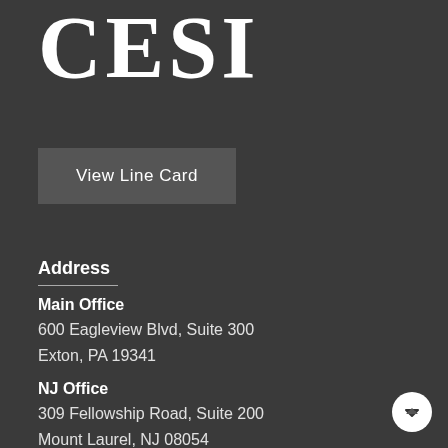CESI
View Line Card
Address
Main Office
600 Eagleview Blvd, Suite 300
Exton, PA 19341
NJ Office
309 Fellowship Road, Suite 200
Mount Laurel, NJ 08054
Phone
856-727-4400